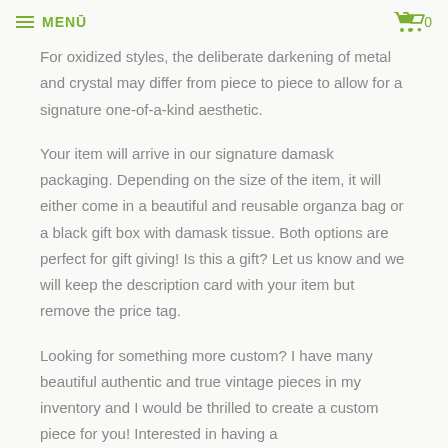≡ MENŪ  🛒 0
For oxidized styles, the deliberate darkening of metal and crystal may differ from piece to piece to allow for a signature one-of-a-kind aesthetic.
Your item will arrive in our signature damask packaging. Depending on the size of the item, it will either come in a beautiful and reusable organza bag or a black gift box with damask tissue. Both options are perfect for gift giving! Is this a gift? Let us know and we will keep the description card with your item but remove the price tag.
Looking for something more custom? I have many beautiful authentic and true vintage pieces in my inventory and I would be thrilled to create a custom piece for you! Interested in having a